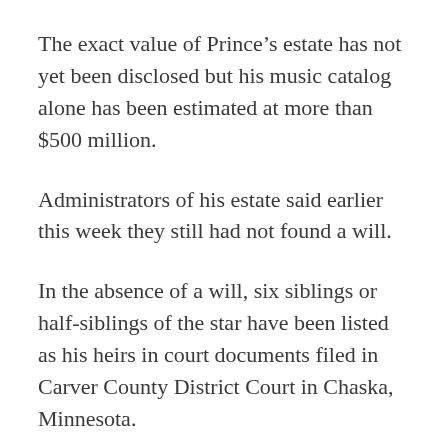The exact value of Prince’s estate has not yet been disclosed but his music catalog alone has been estimated at more than $500 million.
Administrators of his estate said earlier this week they still had not found a will.
In the absence of a will, six siblings or half-siblings of the star have been listed as his heirs in court documents filed in Carver County District Court in Chaska, Minnesota.
(Reporting by Sharon Bernstein in Sacramento, California; Editing by Sandra Maler)